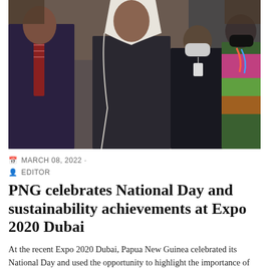[Figure (photo): Group photo of several people standing together at an event, including a man in a dark suit with a striped tie on the left, a person in traditional Arab white keffiyeh and dark thobe in the center, a woman in dark clothing with a mask, and a person in colorful traditional attire with a black mask on the right. The background shows flags and exhibition elements.]
MARCH 08, 2022 ·
EDITOR
PNG celebrates National Day and sustainability achievements at Expo 2020 Dubai
At the recent Expo 2020 Dubai, Papua New Guinea celebrated its National Day and used the opportunity to highlight the importance of sustainability goals and having a positive impact on the environment. The